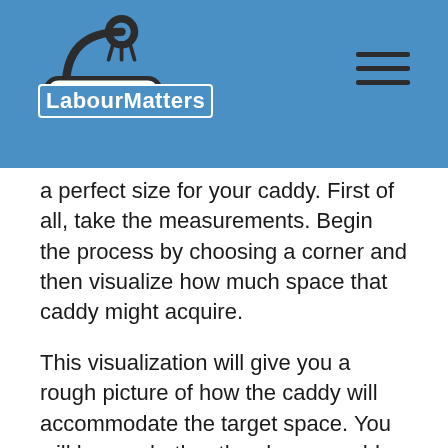LabourMatters
a perfect size for your caddy. First of all, take the measurements. Begin the process by choosing a corner and then visualize how much space that caddy might acquire.
This visualization will give you a rough picture of how the caddy will accommodate the target space. You will know whether the shower caddy will extend too out of the intended place or not. Caddy's size will help you in understanding how much area it will acquire in your shower room.